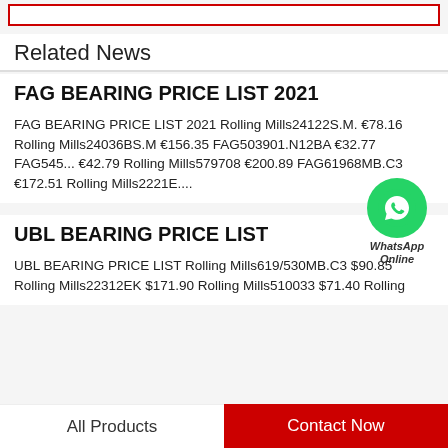Related News
FAG BEARING PRICE LIST 2021
FAG BEARING PRICE LIST 2021 Rolling Mills24122S.M. €78.16 Rolling Mills24036BS.M €156.35 FAG503901.N12BA €32.77 FAG545... €42.79 Rolling Mills579708 €200.89 FAG61968MB.C3 €172.51 Rolling Mills2221E....
[Figure (logo): WhatsApp Online badge with green phone icon and text 'WhatsApp Online']
UBL BEARING PRICE LIST
UBL BEARING PRICE LIST Rolling Mills619/530MB.C3 $90.85 Rolling Mills22312EK $171.90 Rolling Mills510033 $71.40 Rolling...
All Products    Contact Now